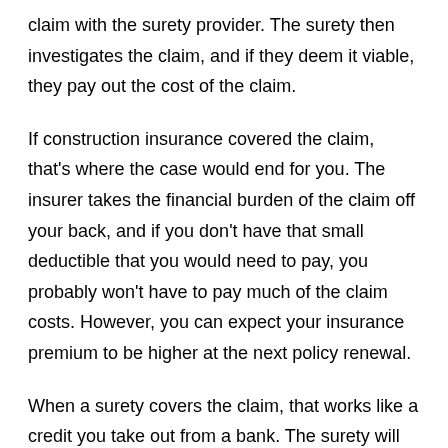claim with the surety provider. The surety then investigates the claim, and if they deem it viable, they pay out the cost of the claim.
If construction insurance covered the claim, that's where the case would end for you. The insurer takes the financial burden of the claim off your back, and if you don't have that small deductible that you would need to pay, you probably won't have to pay much of the claim costs. However, you can expect your insurance premium to be higher at the next policy renewal.
When a surety covers the claim, that works like a credit you take out from a bank. The surety will pay out the total amount of the claim, but you will need to reimburse them. You will need to pay back the full amount the surety covered for you.